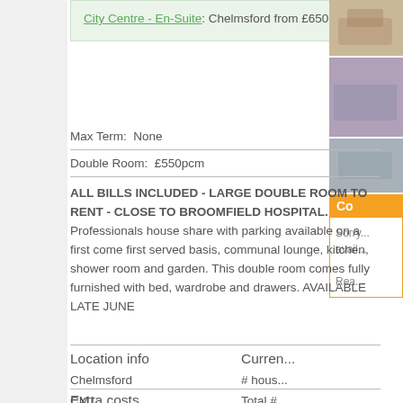City Centre - En-Suite: Chelmsford from £650 pcm
Max Term:  None
Double Room:  £550pcm
ALL BILLS INCLUDED - LARGE DOUBLE ROOM TO RENT - CLOSE TO BROOMFIELD HOSPITAL. Professionals house share with parking available on a first come first served basis, communal lounge, kitchen, shower room and garden. This double room comes fully furnished with bed, wardrobe and drawers. AVAILABLE LATE JUNE
Co...
Sorry... avail...
Rea...
Location info
Chelmsford
CM1
Curren...
# hous...
Total #...
Ages
Smoke...
Any pe...
Extra costs